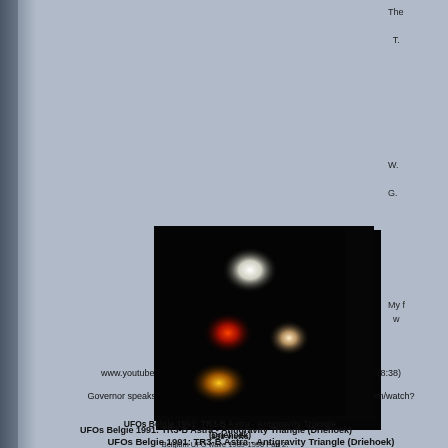[Figure (photo): Dark nighttime photograph showing multiple bright glowing lights (white, red, orange) against a black background, appearing to show UFO lights in triangle formation]
UFOs Belgie 1991: TR3-B Astra - Antigravity Triangle (Driehoek)
830 views
Belgium UFO wave 1989-1990 Part 2: www.youtube.com/watch?v=OsQ6W9eduV8&mode=related&search=(8:38)
Governor speaks Phoenix Lights 1997 were real UFOs: www.youtube.com/watch?v=qJJ5jH9uIkM
The
T.
W.
G.
My f
w